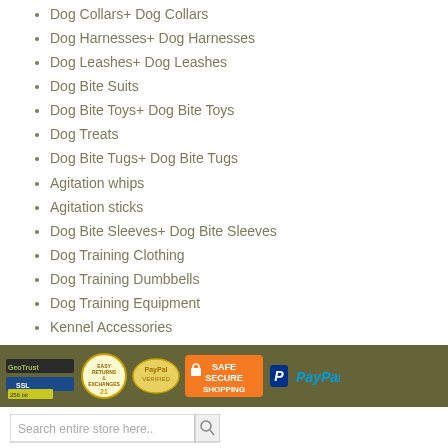Dog Collars+ Dog Collars
Dog Harnesses+ Dog Harnesses
Dog Leashes+ Dog Leashes
Dog Bite Suits
Dog Bite Toys+ Dog Bite Toys
Dog Treats
Dog Bite Tugs+ Dog Bite Tugs
Agitation whips
Agitation sticks
Dog Bite Sleeves+ Dog Bite Sleeves
Dog Training Clothing
Dog Training Dumbbells
Dog Training Equipment
Kennel Accessories
[Figure (infographic): Trust/security badge bar with logos: GeoTrust, SSL, Easy Returns & Exchanges seal, PayPal Verified seal, Safe Secure Shopping orange badge, PayPal logo]
[Figure (screenshot): Search bar with placeholder text 'Search entire store here..' and a search button]
My Account
Checkout
Log In
Close